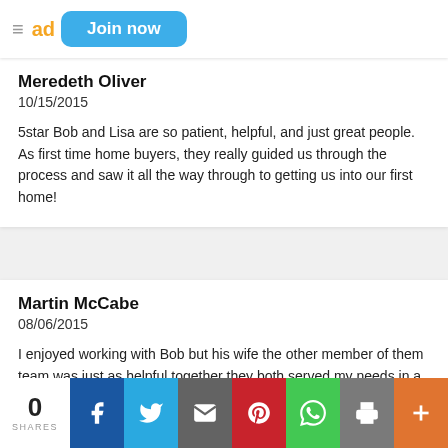Join now
Meredeth Oliver
10/15/2015
5star Bob and Lisa are so patient, helpful, and just great people. As first time home buyers, they really guided us through the process and saw it all the way through to getting us into our first home!
Martin McCabe
08/06/2015
I enjoyed working with Bob but his wife the other member of them team was just as helpful together they both served my needs in a very professional manor. I would recommend to anyone.
0 SHARES | Share buttons: Facebook, Twitter, Email, Pinterest, WhatsApp, Print, More